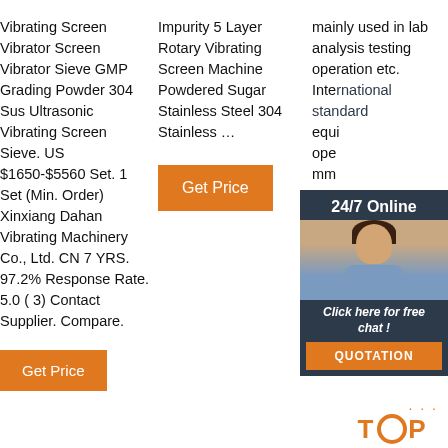Vibrating Screen Vibrator Screen Vibrator Sieve GMP Grading Powder 304 Sus Ultrasonic Vibrating Screen Sieve. US $1650-$5560 Set. 1 Set (Min. Order) Xinxiang Dahan Vibrating Machinery Co., Ltd. CN 7 YRS. 97.2% Response Rate. 5.0 ( 3) Contact Supplier. Compare.
Get Price (column 1 button)
Impurity 5 Layer Rotary Vibrating Screen Machine Powdered Sugar Stainless Steel 304 Stainless …
Get Price (column 2 button)
mainly used in lab analysis testing operation etc. International standard equi oper mm prov dian mac diffe requ
[Figure (other): Chat widget overlay showing a woman with headset, '24/7 Online' header, 'Click here for free chat!' text, and QUOTATION button]
Get Price (column 3 button)
[Figure (other): TOP badge with orange dots and text]